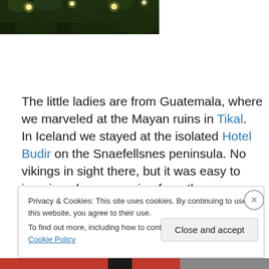[Figure (photo): Partial view of Christmas tree lights with dark green foliage in background]
The little ladies are from Guatemala, where we marveled at the Mayan ruins in Tikal.  In Iceland we stayed at the isolated Hotel Budir on the Snaefellsnes peninsula. No vikings in sight there, but it was easy to imagine elves emerging from the mysteriously shaped lava rocks all around
Privacy & Cookies: This site uses cookies. By continuing to use this website, you agree to their use.
To find out more, including how to control cookies, see here: Cookie Policy
Close and accept